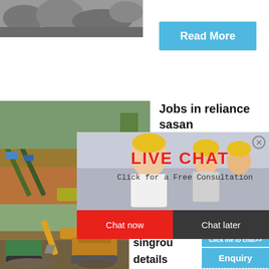[Figure (photo): Grayscale photo of rocks/mining material at top left]
Read More
[Figure (photo): Mining site with conveyor belts and construction equipment, green/brown tones]
Jobs in reliance sasan
t Singrauli
[Figure (photo): Live Chat overlay with woman in white blouse and workers in yellow hard hats in background. Text: LIVE CHAT, Click for a Free Consultation. Buttons: Chat now, Chat later]
hour online
Read
[Figure (photo): Industrial crusher machine (impact crusher) in blue/grey tones on right side widget]
Click me to chat>>
Enquiry
limingjlmofen
[Figure (photo): Construction/mining scene with excavator and heavy equipment, bottom left]
relianc
singrou
details